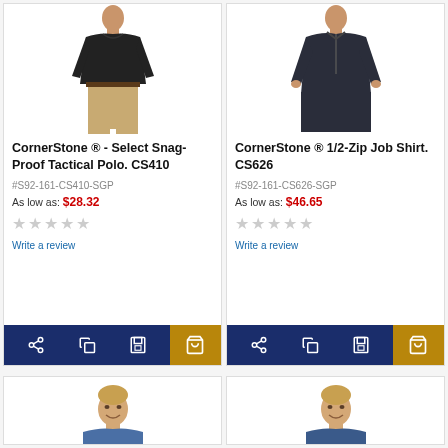[Figure (photo): Man wearing black polo shirt with khaki pants - product photo for CornerStone Select Snag-Proof Tactical Polo CS410]
CornerStone ® - Select Snag-Proof Tactical Polo. CS410
#S92-161-CS410-SGP
As low as: $28.32
Write a review
[Figure (photo): Man wearing dark navy half-zip pullover - product photo for CornerStone 1/2-Zip Job Shirt CS626]
CornerStone ® 1/2-Zip Job Shirt. CS626
#S92-161-CS626-SGP
As low as: $46.65
Write a review
[Figure (photo): Man smiling - partial product photo at bottom left]
[Figure (photo): Man smiling - partial product photo at bottom right]